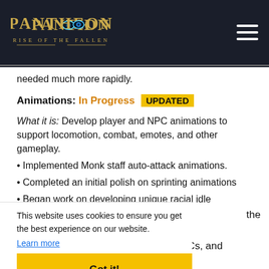[Figure (logo): Pantheon Rise of the Fallen game logo with decorative text and eye icon]
needed much more rapidly.
Animations: In Progress UPDATED
What it is: Develop player and NPC animations to support locomotion, combat, emotes, and other gameplay.
Implemented Monk staff auto-attack animations.
Completed an initial polish on sprinting animations
Began work on developing unique racial idle animations
the
additional
This website uses cookies to ensure you get the best experience on our website.
Learn more
Got it!
, s, create unique sound effects for players and NPCs, and introduce